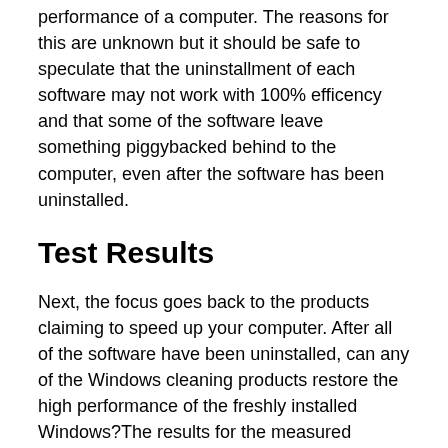performance of a computer. The reasons for this are unknown but it should be safe to speculate that the uninstallment of each software may not work with 100% efficency and that some of the software leave something piggybacked behind to the computer, even after the software has been uninstalled.
Test Results
Next, the focus goes back to the products claiming to speed up your computer. After all of the software have been uninstalled, can any of the Windows cleaning products restore the high performance of the freshly installed Windows?The results for the measured Windows startup times are as follows: Again, all the products seemed to be able to improve the system startup time, with the exception of System Mechanic's 29 second result. All of the results are fairly similar with jv16